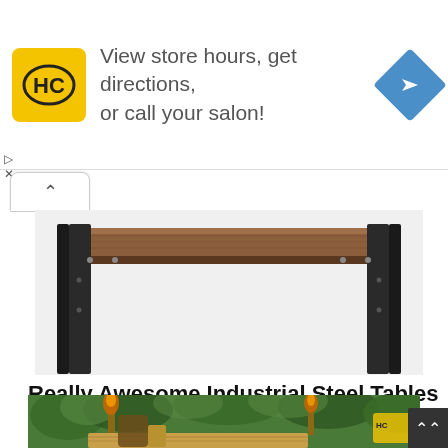[Figure (infographic): Advertisement banner with HC salon logo (yellow square with black HC text), text 'View store hours, get directions, or call your salon!', and a blue diamond navigation arrow icon on the right]
[Figure (photo): Industrial steel console table with a wood top and black metal frame legs, photographed against a white background]
Really Awesome Industrial Steel Tables You Should Know
[Figure (photo): Outdoor garden scene with green plants, tiki torches, and a wooden table]